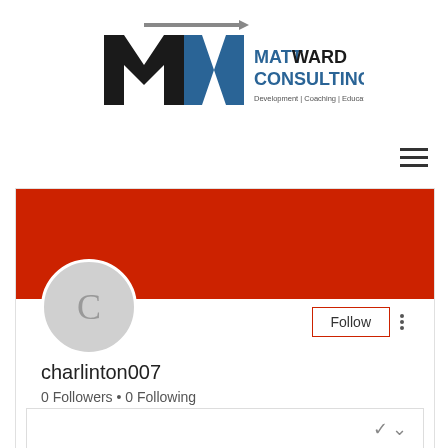[Figure (logo): Matt Ward Consulting logo with MW monogram in black and blue with grey arrow, text reads MATTWARD CONSULTING Development | Coaching | Education]
[Figure (screenshot): Screenshot of a social media profile page with red banner header, circular grey avatar with letter C, Follow button, and three-dot menu. Username charlinton007 with 0 Followers and 0 Following. Partially visible card at bottom with chevron icon.]